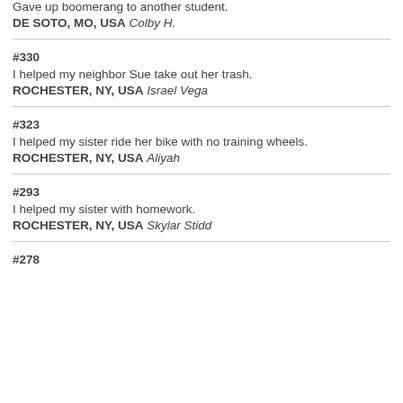Gave up boomerang to another student.
DE SOTO, MO, USA Colby H.
#330
I helped my neighbor Sue take out her trash.
ROCHESTER, NY, USA Israel Vega
#323
I helped my sister ride her bike with no training wheels.
ROCHESTER, NY, USA Aliyah
#293
I helped my sister with homework.
ROCHESTER, NY, USA Skylar Stidd
#278